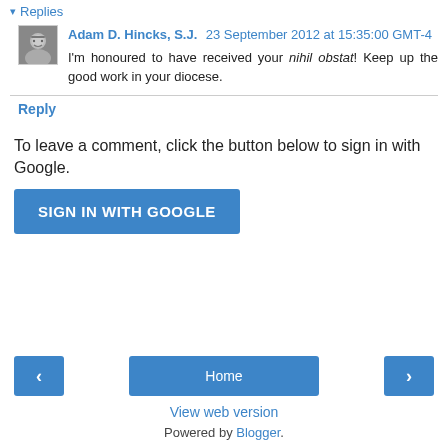▾ Replies
Adam D. Hincks, S.J. 23 September 2012 at 15:35:00 GMT-4
I'm honoured to have received your nihil obstat! Keep up the good work in your diocese.
Reply
To leave a comment, click the button below to sign in with Google.
SIGN IN WITH GOOGLE
Home
View web version
Powered by Blogger.